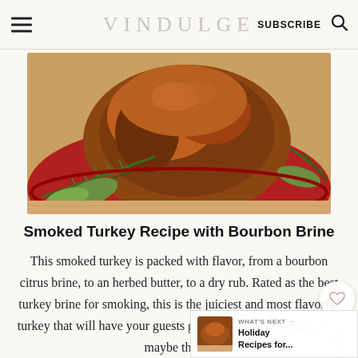VINDULGE  SUBSCRIBE
[Figure (photo): Close-up of a smoked turkey on a red plate, garnished with fresh rosemary and sage herbs]
Smoked Turkey Recipe with Bourbon Brine
This smoked turkey is packed with flavor, from a bourbon citrus brine, to an herbed butter, to a dry rub. Rated as the best turkey brine for smoking, this is the juiciest and most flavorful turkey that will have your guests going back for seconds… and maybe thirds.